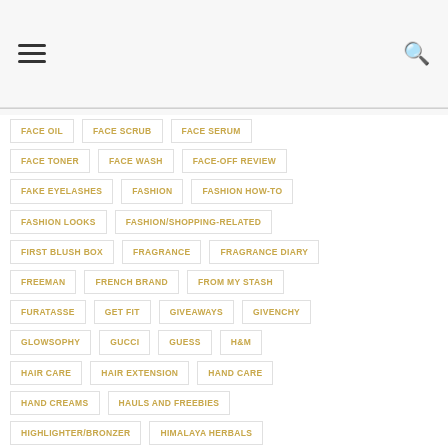Navigation header with hamburger menu and search icon
FACE OIL
FACE SCRUB
FACE SERUM
FACE TONER
FACE WASH
FACE-OFF REVIEW
FAKE EYELASHES
FASHION
FASHION HOW-TO
FASHION LOOKS
FASHION/SHOPPING-RELATED
FIRST BLUSH BOX
FRAGRANCE
FRAGRANCE DIARY
FREEMAN
FRENCH BRAND
FROM MY STASH
FURATASSE
GET FIT
GIVEAWAYS
GIVENCHY
GLOWSOPHY
GUCCI
GUESS
H&M
HAIR CARE
HAIR EXTENSION
HAND CARE
HAND CREAMS
HAULS AND FREEBIES
HIGHLIGHTER/BRONZER
HIMALAYA HERBALS
HISTORY ON BEAUTY/FASHION
HOT DEALS AND OFFERS